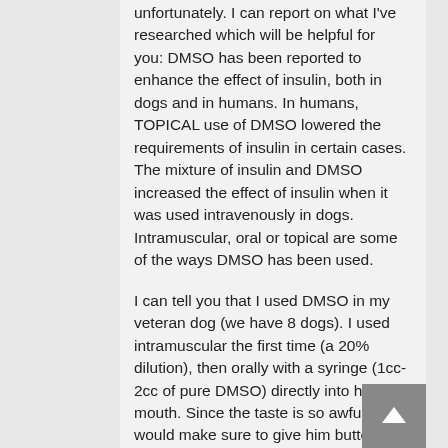unfortunately. I can report on what I've researched which will be helpful for you: DMSO has been reported to enhance the effect of insulin, both in dogs and in humans. In humans, TOPICAL use of DMSO lowered the requirements of insulin in certain cases. The mixture of insulin and DMSO increased the effect of insulin when it was used intravenously in dogs. Intramuscular, oral or topical are some of the ways DMSO has been used.

I can tell you that I used DMSO in my veteran dog (we have 8 dogs). I used intramuscular the first time (a 20% dilution), then orally with a syringe (1cc-2cc of pure DMSO) directly into his mouth. Since the taste is so awful, I would make sure to give him butter or something yummy right afterwards. Then I